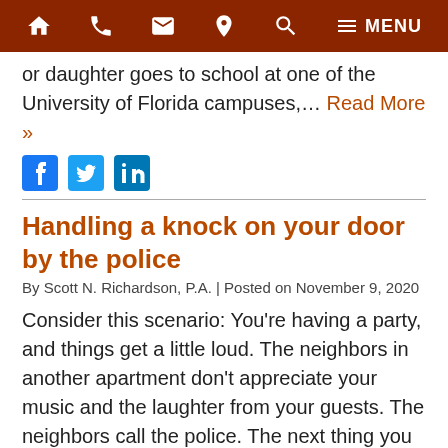Home | Phone | Email | Location | Search | MENU
or daughter goes to school at one of the University of Florida campuses,… Read More »
Social icons: Facebook, Twitter, LinkedIn
Handling a knock on your door by the police
By Scott N. Richardson, P.A. | Posted on November 9, 2020
Consider this scenario: You're having a party, and things get a little loud. The neighbors in another apartment don't appreciate your music and the laughter from your guests. The neighbors call the police. The next thing you know, there's a knock on your door and two uniformed officers are standing outside. Before you open… Read More »
Social icons: Facebook, Twitter, LinkedIn (partial)